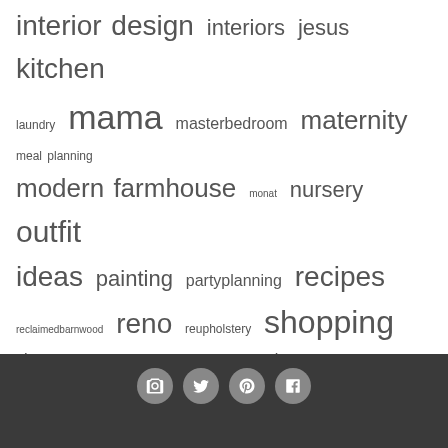interior design interiors jesus kitchen laundry mama masterbedroom maternity meal planning modern farmhouse monat nursery outfit ideas painting partyplanning recipes reclaimedbarnwood reno reupholstery shopping showmeyourspace songs spraypaint staying at home thriftblog thrifthallofshame thrifting tnthrift trips upstairs vintage ymca
Social media icons (camera, twitter, pinterest, facebook)